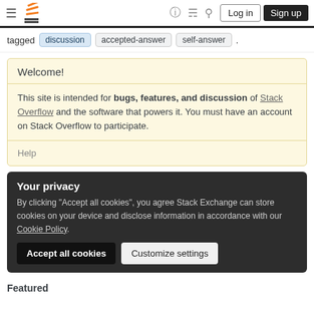Stack Overflow Meta — Log in | Sign up
tagged discussion accepted-answer self-answer .
Welcome!
This site is intended for bugs, features, and discussion of Stack Overflow and the software that powers it. You must have an account on Stack Overflow to participate.
Help
Your privacy
By clicking "Accept all cookies", you agree Stack Exchange can store cookies on your device and disclose information in accordance with our Cookie Policy.
Accept all cookies   Customize settings
Featured